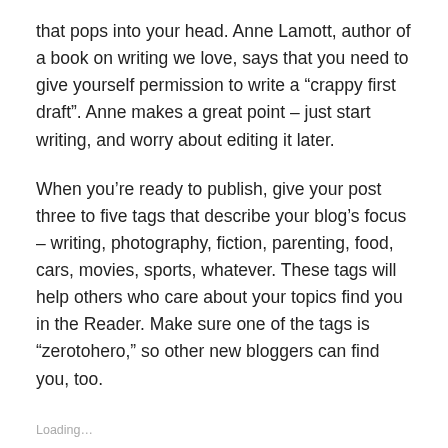that pops into your head. Anne Lamott, author of a book on writing we love, says that you need to give yourself permission to write a “crappy first draft”. Anne makes a great point – just start writing, and worry about editing it later.
When you’re ready to publish, give your post three to five tags that describe your blog’s focus – writing, photography, fiction, parenting, food, cars, movies, sports, whatever. These tags will help others who care about your topics find you in the Reader. Make sure one of the tags is “zerotohero,” so other new bloggers can find you, too.
Loading…